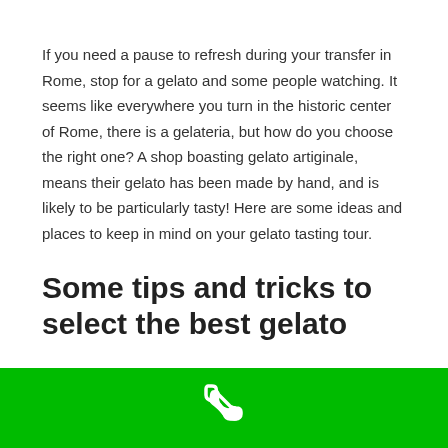If you need a pause to refresh during your transfer in Rome, stop for a gelato and some people watching. It seems like everywhere you turn in the historic center of Rome, there is a gelateria, but how do you choose the right one? A shop boasting gelato artiginale, means their gelato has been made by hand, and is likely to be particularly tasty! Here are some ideas and places to keep in mind on your gelato tasting tour.
Some tips and tricks to select the best gelato
What is the difference between ice cream and gelato? Well, there are several things in the way it is made, frozen and served, but a
[Figure (other): Green footer bar with a white phone/call icon centered]